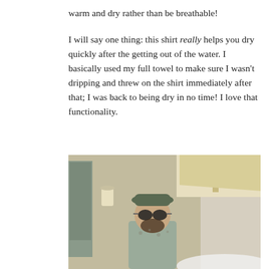warm and dry rather than be breathable!
I will say one thing: this shirt really helps you dry quickly after the getting out of the water. I basically used my full towel to make sure I wasn't dripping and threw on the shirt immediately after that; I was back to being dry in no time! I love that functionality.
[Figure (photo): A bearded man wearing a bucket hat and sunglasses stands outside in front of a stucco wall with a wall-mounted light fixture. He appears to be wearing a patterned shirt. The background shows a building eave with wooden beams.]